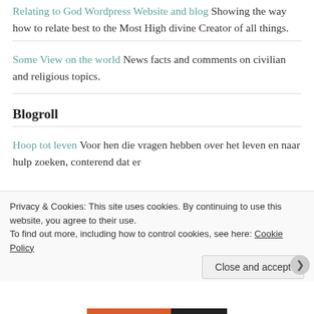Relating to God Wordpress Website and blog Showing the way how to relate best to the Most High divine Creator of all things.
Some View on the world News facts and comments on civilian and religious topics.
Blogroll
Hoop tot leven Voor hen die vragen hebben over het leven en naar hulp zoeken, conterend dat er
Privacy & Cookies: This site uses cookies. By continuing to use this website, you agree to their use.
To find out more, including how to control cookies, see here: Cookie Policy
Close and accept